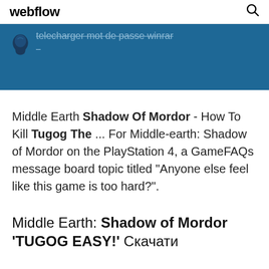webflow
[Figure (screenshot): Blue banner with partial text 'telecharger mot de passe winrar' and a dark blue bird/twitter-like icon on the left, with a dash below the text.]
Middle Earth Shadow Of Mordor - How To Kill Tugog The ... For Middle-earth: Shadow of Mordor on the PlayStation 4, a GameFAQs message board topic titled "Anyone else feel like this game is too hard?".
Middle Earth: Shadow of Mordor 'TUGOG EASY!' Скачати